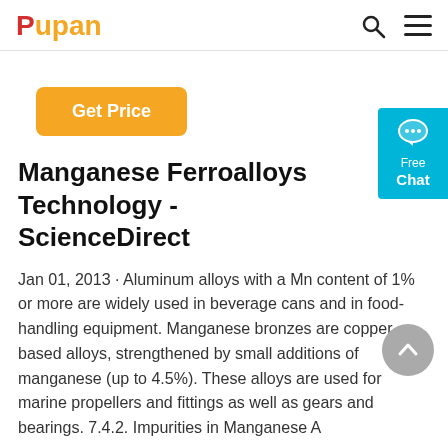Pupan
[Figure (other): Get Price button (orange, rounded rectangle)]
Manganese Ferroalloys Technology - ScienceDirect
Jan 01, 2013 · Aluminum alloys with a Mn content of 1% or more are widely used in beverage cans and in food-handling equipment. Manganese bronzes are copper-based alloys, strengthened by small additions of manganese (up to 4.5%). These alloys are used for marine propellers and fittings as well as gears and bearings. 7.4.2. Impurities in Manganese A
[Figure (other): Get Price button (orange, rounded rectangle) at bottom]